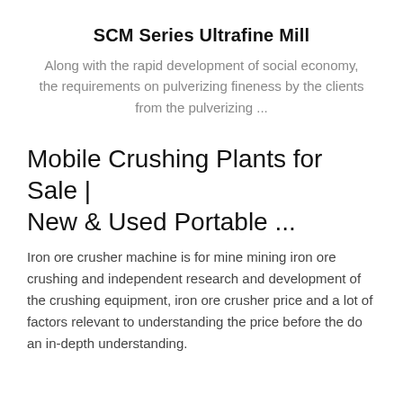SCM Series Ultrafine Mill
Along with the rapid development of social economy, the requirements on pulverizing fineness by the clients from the pulverizing ...
Mobile Crushing Plants for Sale | New & Used Portable ...
Iron ore crusher machine is for mine mining iron ore crushing and independent research and development of the crushing equipment, iron ore crusher price and a lot of factors relevant to understanding the price before the do an in-depth understanding.